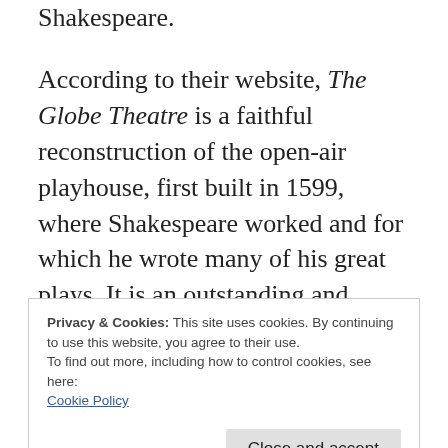Shakespeare.
According to their website, The Globe Theatre is a faithful reconstruction of the open-air playhouse, first built in 1599, where Shakespeare worked and for which he wrote many of his great plays. It is an outstanding and totally special venue. The courtyard of the theatre complex is paved with stones that bear the names of benefactors to the beloved
Privacy & Cookies: This site uses cookies. By continuing to use this website, you agree to their use.
To find out more, including how to control cookies, see here:
Cookie Policy

Close and accept
his first visit to the UK in 1949; he died in 1993